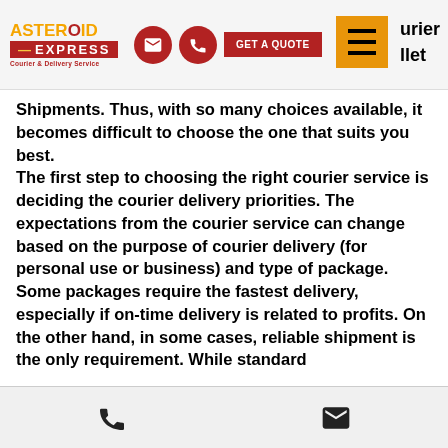Asteroid Express Courier & Delivery Service — GET A QUOTE
Shipments. Thus, with so many choices available, it becomes difficult to choose the one that suits you best. The first step to choosing the right courier service is deciding the courier delivery priorities. The expectations from the courier service can change based on the purpose of courier delivery (for personal use or business) and type of package. Some packages require the fastest delivery, especially if on-time delivery is related to profits. On the other hand, in some cases, reliable shipment is the only requirement. While standard
[phone icon] [email icon]